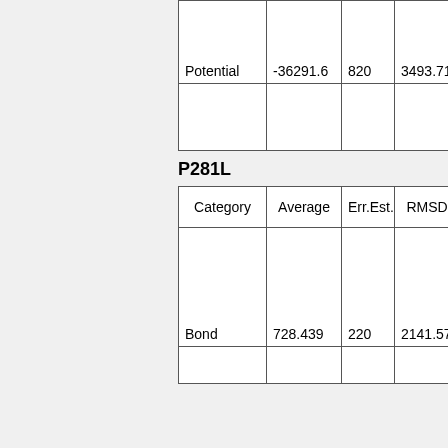| Category | Average | Err.Est. | RMSD | Tot-Drift | C |
| --- | --- | --- | --- | --- | --- |
| Potential | -36291.6 | 820 | 3493.71 | -5504.87 |  |
P281L
| Category | Average | Err.Est. | RMSD | Tot-Drift | C |
| --- | --- | --- | --- | --- | --- |
| Bond | 728.439 | 220 | 2141.57 | -1346.93 |  |
|  |  |  |  |  |  |